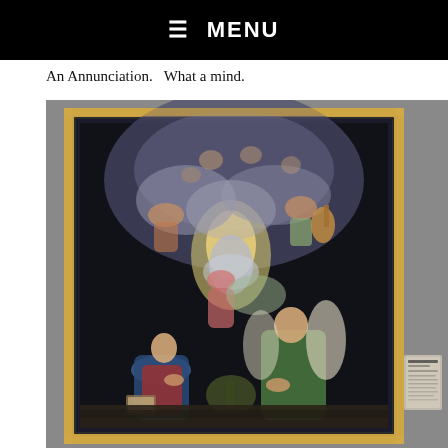☰ MENU
An Annunciation.   What a mind.
[Figure (photo): A photograph taken in a museum gallery showing El Greco's painting 'The Annunciation' in an ornate gold and dark frame. The painting depicts the Virgin Mary in blue and red robes at lower left, an Angel in green robes at lower right, and a heavenly host of angels above amid swirling clouds and light. A museum label card is visible on the wall to the right of the painting.]